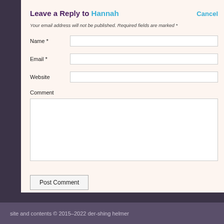Leave a Reply to Hannah
Your email address will not be published. Required fields are marked *
Name *
Email *
Website
Comment
Post Comment
site and contents © 2015–2022 der-shing helmer